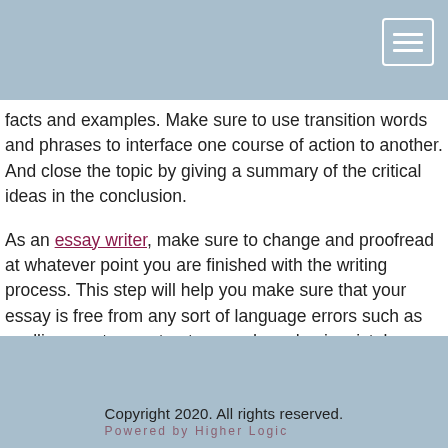facts and examples. Make sure to use transition words and phrases to interface one course of action to another. And close the topic by giving a summary of the critical ideas in the conclusion.
As an essay writer, make sure to change and proofread at whatever point you are finished with the writing process. This step will help you make sure that your essay is free from any sort of language errors such as spelling, sentence structure, and emphasis mistakes.
Copyright 2020. All rights reserved.
Powered by Higher Logic